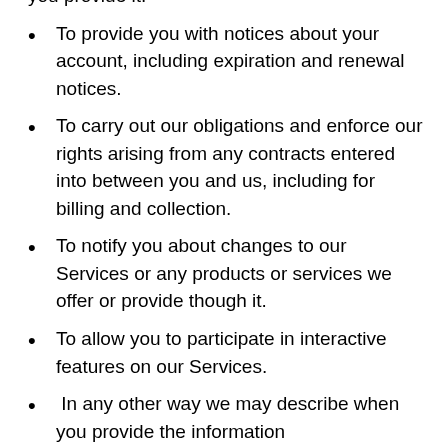you provide it.
To provide you with notices about your account, including expiration and renewal notices.
To carry out our obligations and enforce our rights arising from any contracts entered into between you and us, including for billing and collection.
To notify you about changes to our Services or any products or services we offer or provide though it.
To allow you to participate in interactive features on our Services.
In any other way we may describe when you provide the information